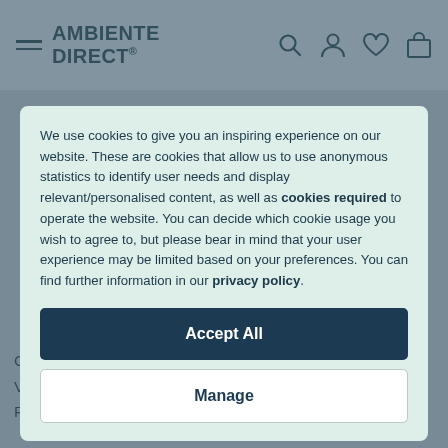AMBIENTE DIRECT®
We use cookies to give you an inspiring experience on our website. These are cookies that allow us to use anonymous statistics to identify user needs and display relevant/personalised content, as well as cookies required to operate the website. You can decide which cookie usage you wish to agree to, but please bear in mind that your user experience may be limited based on your preferences. You can find further information in our privacy policy.
Accept All
Manage
Charles Eames
Verner Panton
Philippe Starck
s van der Rohe
an Diez
Alfredo Häberli